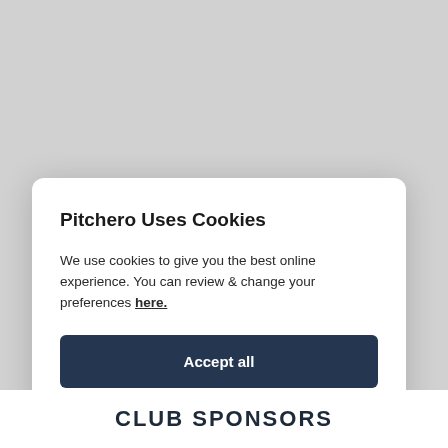Pitchero Uses Cookies
We use cookies to give you the best online experience. You can review & change your preferences here.
Accept all
Reject all
CLUB SPONSORS